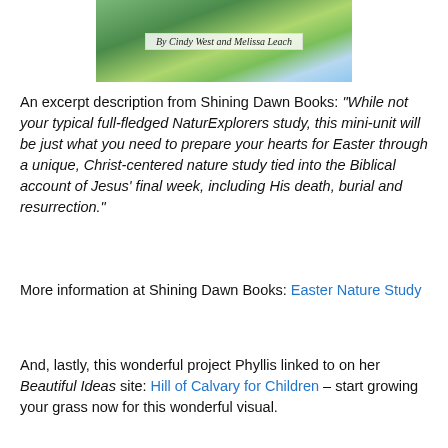[Figure (photo): Book cover photo showing green leaves and blue sky with a white label reading 'By Cindy West and Melissa Leach' in italic script]
An excerpt description from Shining Dawn Books: “While not your typical full-fledged NaturExplorers study, this mini-unit will be just what you need to prepare your hearts for Easter through a unique, Christ-centered nature study tied into the Biblical account of Jesus’ final week, including His death, burial and resurrection.”
More information at Shining Dawn Books: Easter Nature Study
And, lastly, this wonderful project Phyllis linked to on her Beautiful Ideas site: Hill of Calvary for Children – start growing your grass now for this wonderful visual.